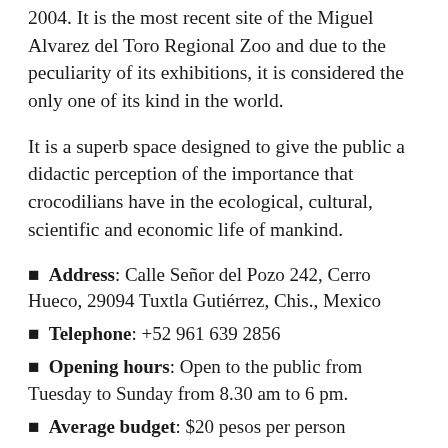2004. It is the most recent site of the Miguel Alvarez del Toro Regional Zoo and due to the peculiarity of its exhibitions, it is considered the only one of its kind in the world.
It is a superb space designed to give the public a didactic perception of the importance that crocodilians have in the ecological, cultural, scientific and economic life of mankind.
Address: Calle Señor del Pozo 242, Cerro Hueco, 29094 Tuxtla Gutiérrez, Chis., Mexico
Telephone: +52 961 639 2856
Opening hours: Open to the public from Tuesday to Sunday from 8.30 am to 6 pm.
Average budget: $20 pesos per person